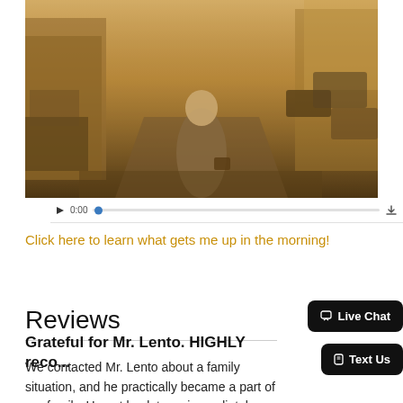[Figure (photo): A man in a grey suit walking on a busy street carrying a briefcase, shot in warm golden light with storefronts and cars visible in the background. A video player control bar is visible below the image with a play button, time counter at 0:00, a progress bar with a blue dot, and a download icon.]
Click here to learn what gets me up in the morning!
Reviews
Grateful for Mr. Lento. HIGHLY reco...
We contacted Mr. Lento about a family situation, and he practically became a part of our family. He got back to us immediately....